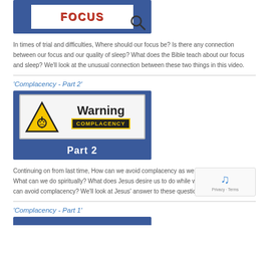[Figure (photo): Top portion of a blue-background image showing FOCUS text in red with a magnifying glass, partially cropped at top]
In times of trial and difficulties, Where should our focus be? Is there any connection between our focus and our quality of sleep? What does the Bible teach about our focus and sleep? We'll look at the unusual connection between these two things in this video.
'Complacency - Part 2'
[Figure (photo): Warning Complacency sign image with yellow triangle warning sign, text 'Warning COMPLACENCY' in yellow on black, and 'Part 2' text on blue background bar at bottom]
Continuing on from last time, How can we avoid complacency as we wait for Jesus return? What can we do spiritually? What does Jesus desire us to do while we are waiting so we can avoid complacency? We'll look at Jesus' answer to these questions.
'Complacency - Part 1'